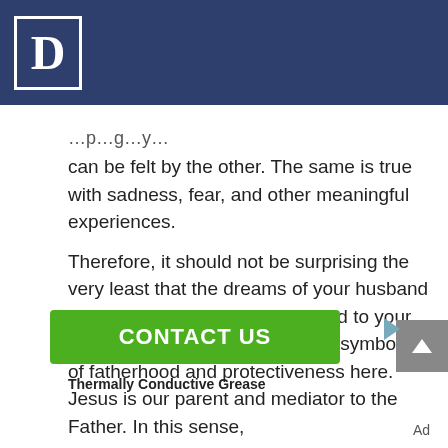D
can be felt by the other. The same is true with sadness, fear, and other meaningful experiences.
Therefore, it should not be surprising the very least that the dreams of your husband can also be connected or relayed to your daughter. Specifically, there is a symbolism of fatherhood and protectiveness here. Jesus is our parent and mediator to the Father. In this sense,
[Figure (other): Green CONTACT US advertisement button with ad icons]
Thermally Conductive Grease
Ad